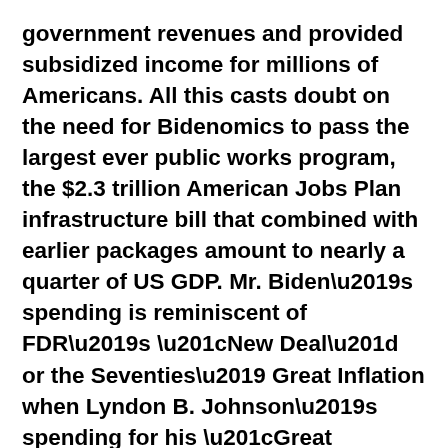government revenues and provided subsidized income for millions of Americans. All this casts doubt on the need for Bidenomics to pass the largest ever public works program, the $2.3 trillion American Jobs Plan infrastructure bill that combined with earlier packages amount to nearly a quarter of US GDP. Mr. Biden’s spending is reminiscent of FDR’s “New Deal” or the Seventies’ Great Inflation when Lyndon B. Johnson’s spending for his “Great Society” and the Vietnam War sparked America’s double digit near-hyperinflation. This time, Mr. Biden’s FDR- sized reboot falls again on the Federal Reserve to finance, and while the